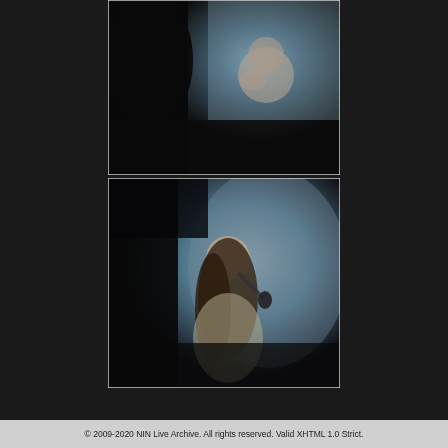[Figure (photo): Concert/performance photo (top): A person with short hair singing or performing on stage, dimly lit with dark and blue tones, partially obscured by shadow.]
[Figure (photo): Concert/performance photo (bottom): A performer with long hair wearing a sleeveless top, holding a microphone, performing on stage under blue lighting.]
© 2009-2020 NIN Live Archive. All rights reserved. Valid XHTML 1.0 Strict.